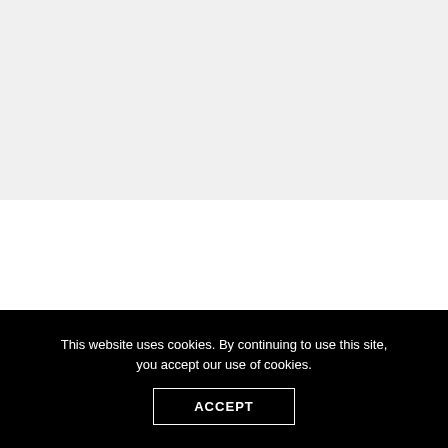[Figure (other): Gray background area at top of page, likely a placeholder for an image]
Another year, another batch of young hopefuls aspiring to
This website uses cookies. By continuing to use this site, you accept our use of cookies.

ACCEPT